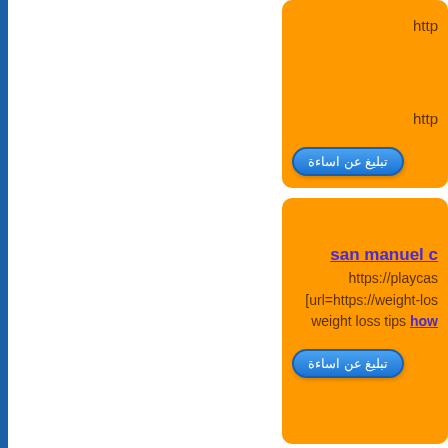http (truncated - card 1 top)
http (truncated - card 1 middle)
تبليغ عن اساءة (report button card 1)
san manuel c (link, truncated)
https://playcas... [url=https://weight-los... weight loss tips how...
تبليغ عن اساءة (report button card 2)
cial (link, truncated - card 3)